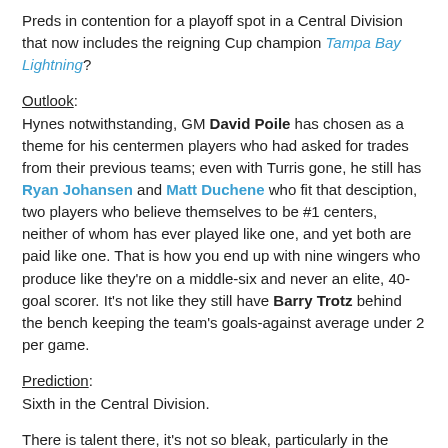Preds in contention for a playoff spot in a Central Division that now includes the reigning Cup champion Tampa Bay Lightning?
Outlook:
Hynes notwithstanding, GM David Poile has chosen as a theme for his centermen players who had asked for trades from their previous teams; even with Turris gone, he still has Ryan Johansen and Matt Duchene who fit that desciption, two players who believe themselves to be #1 centers, neither of whom has ever played like one, and yet both are paid like one. That is how you end up with nine wingers who produce like they're on a middle-six and never an elite, 40-goal scorer. It's not like they still have Barry Trotz behind the bench keeping the team's goals-against average under 2 per game.
Prediction:
Sixth in the Central Division.
There is talent there, it's not so bleak, particularly in the same division as the Detroit Red Wings and Chicago